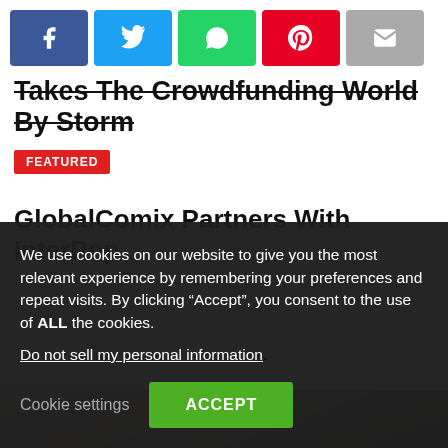[Figure (other): Social share buttons row: Facebook (blue), Twitter (light blue), WhatsApp (green), Pinterest (red), Email (gray)]
Takes The Crowdfunding World By Storm
FEATURED
GlobalComix Partners With InterPop
[Figure (photo): Partially visible photo of a person with brown hair, background blurred]
We use cookies on our website to give you the most relevant experience by remembering your preferences and repeat visits. By clicking “Accept”, you consent to the use of ALL the cookies.
Do not sell my personal information.
Cookie settings  ACCEPT